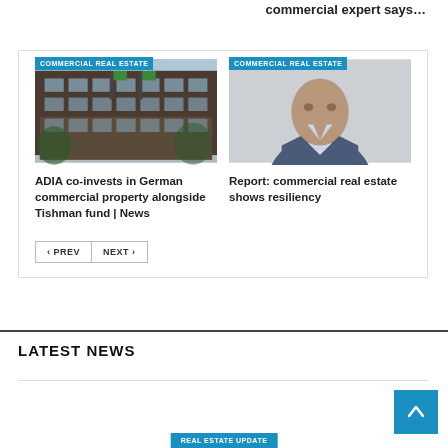commercial expert says…
[Figure (photo): Building exterior photo with COMMERCIAL REAL ESTATE badge]
ADIA co-invests in German commercial property alongside Tishman fund | News
[Figure (photo): Man in suit photo with COMMERCIAL REAL ESTATE badge]
Report: commercial real estate shows resiliency
< PREV   NEXT >
LATEST NEWS